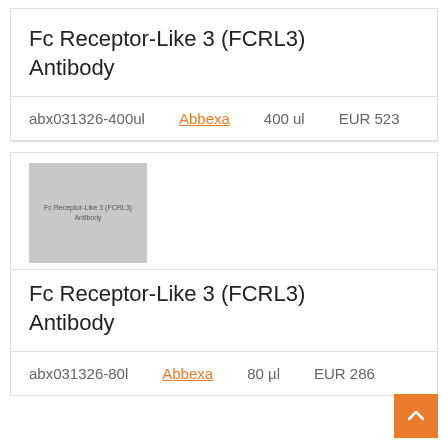Fc Receptor-Like 3 (FCRL3) Antibody
| SKU | Supplier | Volume | Price |
| --- | --- | --- | --- |
| abx031326-400ul | Abbexa | 400 ul | EUR 523 |
[Figure (photo): Placeholder image for Fc Receptor-Like 3 (FCRL3) Antibody product]
Fc Receptor-Like 3 (FCRL3) Antibody
| SKU | Supplier | Volume | Price |
| --- | --- | --- | --- |
| abx031326-80l | Abbexa | 80 µl | EUR 286 |